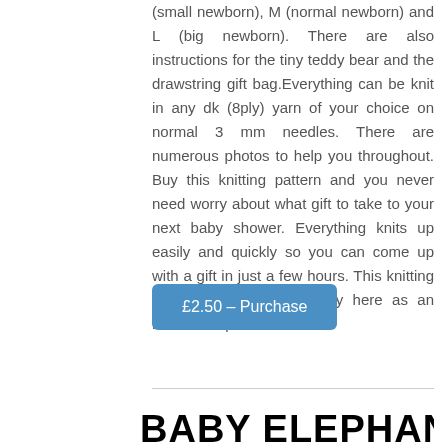(small newborn), M (normal newborn) and L (big newborn). There are also instructions for the tiny teddy bear and the drawstring gift bag.Everything can be knit in any dk (8ply) yarn of your choice on normal 3 mm needles. There are numerous photos to help you throughout. Buy this knitting pattern and you never need worry about what gift to take to your next baby shower. Everything knits up easily and quickly so you can come up with a gift in just a few hours. This knitting pattern is available to buy here as an immediate pdf download .
£2.50 – Purchase
BABY ELEPHANT TOY